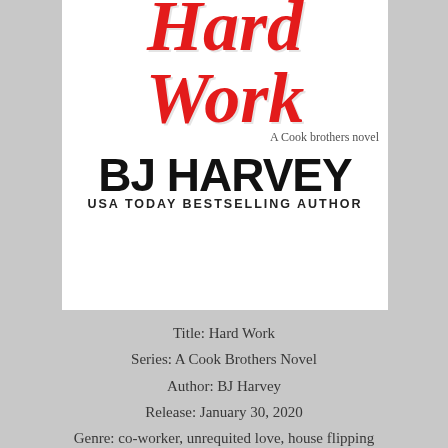[Figure (illustration): Book cover for 'Hard Work' by BJ Harvey. Shows red cursive script title 'Hard Work' with subtitle 'A Cook brothers novel' and author name 'BJ Harvey' in large black sans-serif font with 'USA Today Bestselling Author' tagline.]
Title: Hard Work
Series: A Cook Brothers Novel
Author: BJ Harvey
Release: January 30, 2020
Genre: co-worker, unrequited love, house flipping romantic comedy